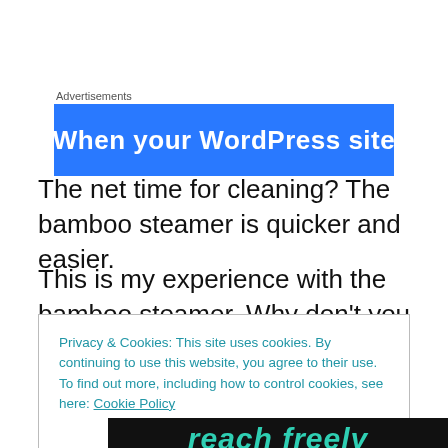Advertisements
[Figure (screenshot): Blue advertisement banner with white bold text reading 'When your WordPress site']
The net time for cleaning? The bamboo steamer is quicker and easier.
This is my experience with the bamboo steamer. Why don't you tell me your yours in the comments?
Privacy & Cookies: This site uses cookies. By continuing to use this website, you agree to their use.
To find out more, including how to control cookies, see here: Cookie Policy
Close and accept
[Figure (screenshot): Dark banner with teal italic text reading 'reach freely']